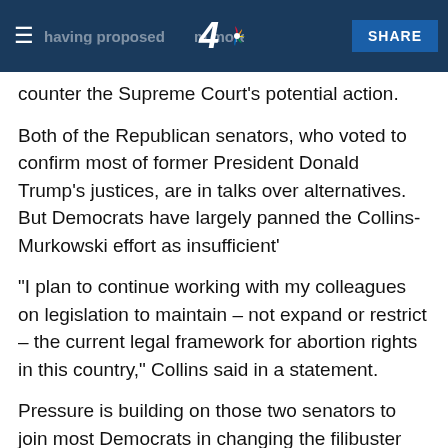having proposed … more tailored approach to counter the Supreme Court's potential action. | SHARE
counter the Supreme Court's potential action.
Both of the Republican senators, who voted to confirm most of former President Donald Trump's justices, are in talks over alternatives. But Democrats have largely panned the Collins-Murkowski effort as insufficient'
"I plan to continue working with my colleagues on legislation to maintain – not expand or restrict – the current legal framework for abortion rights in this country," Collins said in a statement.
Pressure is building on those two senators to join most Democrats in changing the filibuster rules, but that appears unlikely.